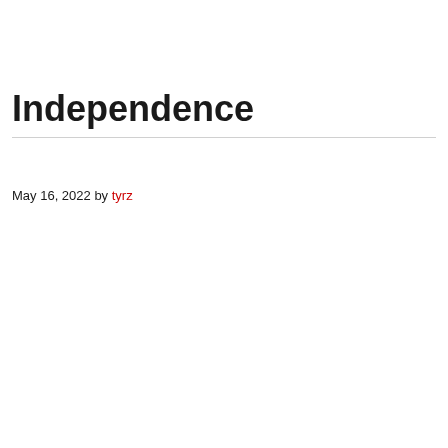Independence
May 16, 2022 by tyrz